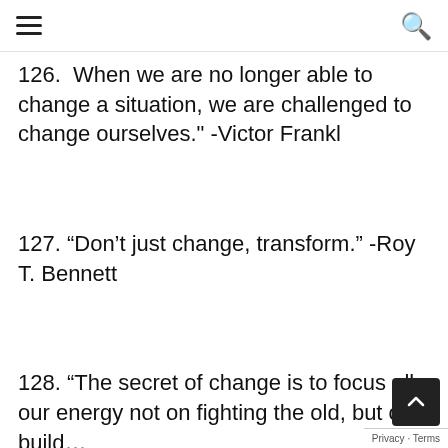Navigation menu and search icon
126. "When we are no longer able to change a situation, we are challenged to change ourselves." -Victor Frankl
127. “Don’t just change, transform.” -Roy T. Bennett
128. “The secret of change is to focus all our energy not on fighting the old, but on build…